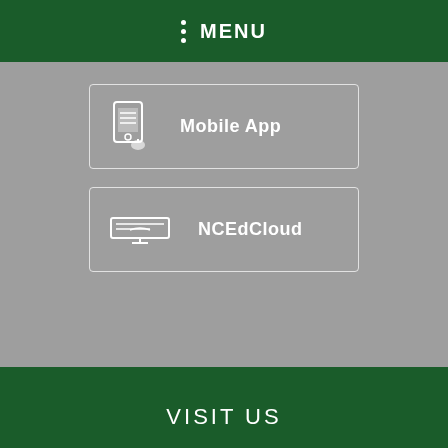MENU
Mobile App
NCEdCloud
VISIT US
1388 W. NC 403 Hwy.
View Full Site